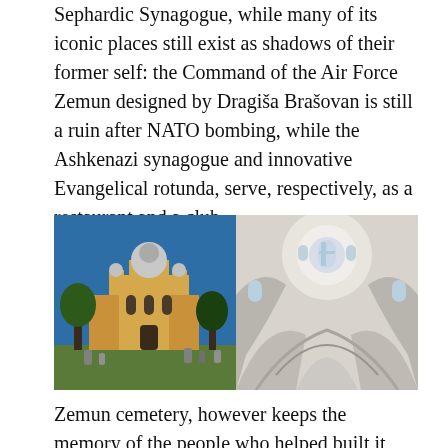Sephardic Synagogue, while many of its iconic places still exist as shadows of their former self: the Command of the Air Force Zemun designed by Dragiša Brašovan is still a ruin after NATO bombing, while the Ashkenazi synagogue and innovative Evangelical rotunda, serve, respectively, as a restaurant and a club.
[Figure (photo): Two side-by-side photos: left shows exterior of a yellow-stone Serbian Orthodox church with a dome, surrounded by cemetery gravestones and trees under a blue sky; right shows interior of a domed church with white curved arches and a circular skylight window at the top.]
Zemun cemetery, however keeps the memory of the people who helped built it, and marked it. Even its symbol, the Serbian Orthodox Church of St Demetrius, perched on the top of Zemun's loess plateau and visible